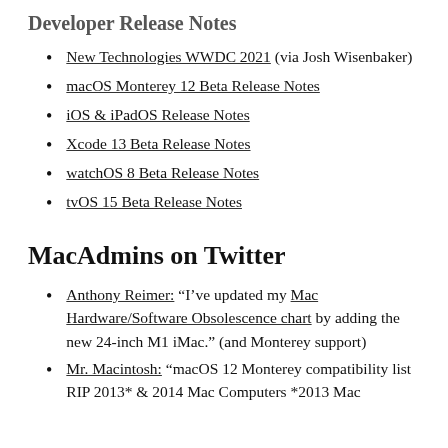Developer Release Notes
New Technologies WWDC 2021 (via Josh Wisenbaker)
macOS Monterey 12 Beta Release Notes
iOS & iPadOS Release Notes
Xcode 13 Beta Release Notes
watchOS 8 Beta Release Notes
tvOS 15 Beta Release Notes
MacAdmins on Twitter
Anthony Reimer: “I’ve updated my Mac Hardware/Software Obsolescence chart by adding the new 24-inch M1 iMac.” (and Monterey support)
Mr. Macintosh: “macOS 12 Monterey compatibility list RIP 2013* & 2014 Mac Computers *2013 Mac